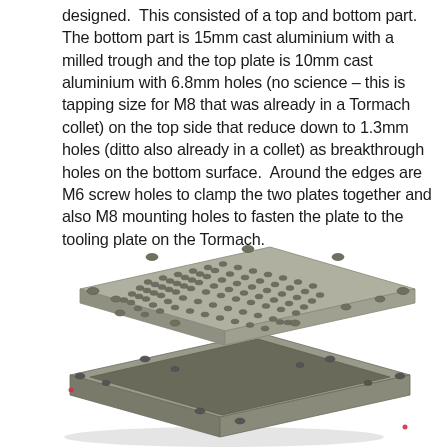designed.  This consisted of a top and bottom part.  The bottom part is 15mm cast aluminium with a milled trough and the top plate is 10mm cast aluminium with 6.8mm holes (no science – this is tapping size for M8 that was already in a Tormach collet) on the top side that reduce down to 1.3mm holes (ditto also already in a collet) as breakthrough holes on the bottom surface.  Around the edges are M6 screw holes to clamp the two plates together and also M8 mounting holes to fasten the plate to the tooling plate on the Tormach.
[Figure (engineering-diagram): 3D CAD rendering showing an exploded view of two aluminium plates: the top plate has a grid of small holes (6.8mm reducing to 1.3mm) across its surface and larger M6/M8 screw holes around the edges; the bottom plate is a tray with milled trough and screw holes around the perimeter. Both parts are shown in grey.]